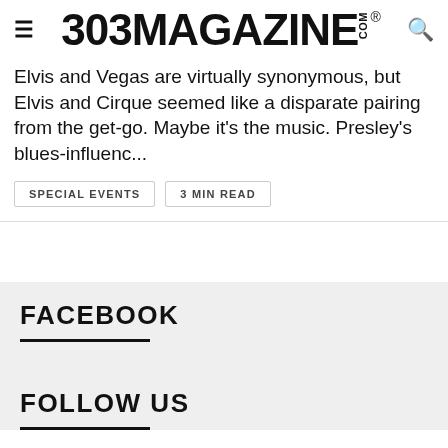303 MAGAZINE .COM ®
Elvis and Vegas are virtually synonymous, but Elvis and Cirque seemed like a disparate pairing from the get-go. Maybe it's the music. Presley's blues-influenc...
SPECIAL EVENTS
3 MIN READ
FACEBOOK
FOLLOW US